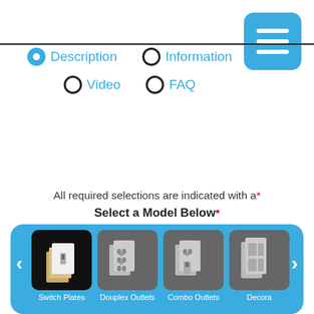[Figure (screenshot): Navigation menu hamburger icon button, blue rounded rectangle with three white horizontal bars]
Description (selected radio button)
Information (radio button)
Video (radio button)
FAQ (radio button)
All required selections are indicated with a*
Select a Model Below*
[Figure (screenshot): Blue carousel showing four product category tiles: Switch Plates (selected, black background), Douplex Outlets, Combo Outlets, Decora. Left and right navigation arrows on the sides.]